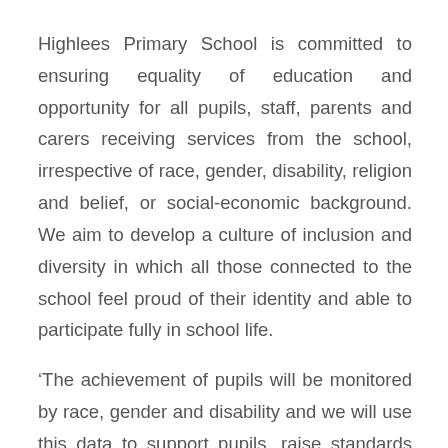Highlees Primary School is committed to ensuring equality of education and opportunity for all pupils, staff, parents and carers receiving services from the school, irrespective of race, gender, disability, religion and belief, or social-economic background. We aim to develop a culture of inclusion and diversity in which all those connected to the school feel proud of their identity and able to participate fully in school life.
‘The achievement of pupils will be monitored by race, gender and disability and we will use this data to support pupils, raise standards and ensure inclusive teaching. We will tackle discrimination by the positive promotion of equality, challenging